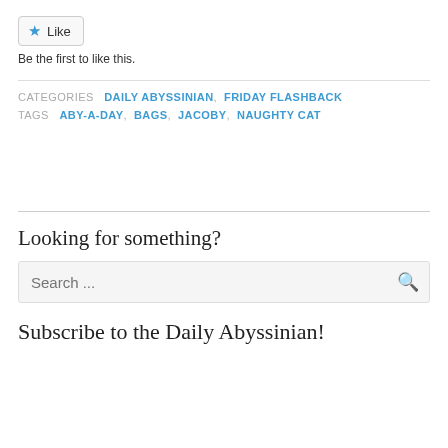[Figure (other): Like button with blue star icon]
Be the first to like this.
CATEGORIES  DAILY ABYSSINIAN,  FRIDAY FLASHBACK
TAGS  ABY-A-DAY,  BAGS,  JACOBY,  NAUGHTY CAT
Looking for something?
Search ...
Subscribe to the Daily Abyssinian!